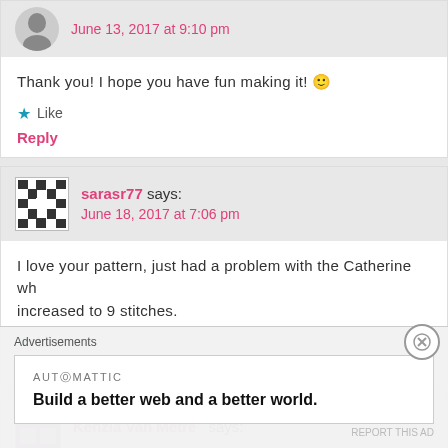June 13, 2017 at 9:10 pm
Thank you! I hope you have fun making it! 🙂
Like
Reply
sarasr77 says:
June 18, 2017 at 7:06 pm
I love your pattern, just had a problem with the Catherine wh... increased to 9 stitches.
Like
Reply
Kenzia Van Metre says:
Advertisements
[Figure (infographic): Automattic advertisement: Build a better web and a better world.]